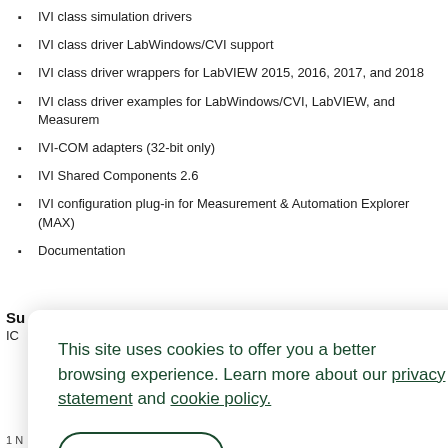IVI class simulation drivers
IVI class driver LabWindows/CVI support
IVI class driver wrappers for LabVIEW 2015, 2016, 2017, and 2018
IVI class driver examples for LabWindows/CVI, LabVIEW, and Measuremen
IVI-COM adapters (32-bit only)
IVI Shared Components 2.6
IVI configuration plug-in for Measurement & Automation Explorer (MAX)
Documentation
Su
ICI
This site uses cookies to offer you a better browsing experience. Learn more about our privacy statement and cookie policy.

Yes, I accept
1 N                                                                                          Wind